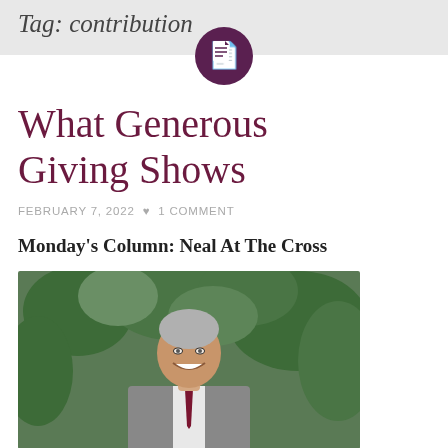Tag: contribution
[Figure (logo): Dark purple circular icon with a document/file symbol in the center]
What Generous Giving Shows
FEBRUARY 7, 2022 ♥ 1 COMMENT
Monday's Column: Neal At The Cross
[Figure (photo): Headshot of a middle-aged man in a grey suit with a dark red tie, smiling, with green foliage in the background]